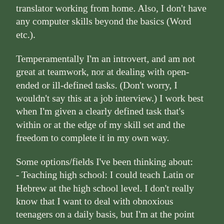translator working from home. Also, I don't have any computer skills beyond the basics (Word etc.).
Temperamentally I'm an introvert, and am not great at teamwork, nor at dealing with open-ended or ill-defined tasks. (Don't worry, I wouldn't say this at a job interview.) I work best when I'm given a clearly defined task that's within or at the edge of my skill set and the freedom to complete it in my own way.
Some options/fields I've been thinking about:
- Teaching high school: I could teach Latin or Hebrew at the high school level. I don't really know that I want to deal with obnoxious teenagers on a daily basis, but I'm at the point where I'll take what I can get. However, I doubt most high schools would consider doing visa sponsorship (nor do community colleges, which rules out that option); also, I don't have a teaching certification, so would be limited to private schools.